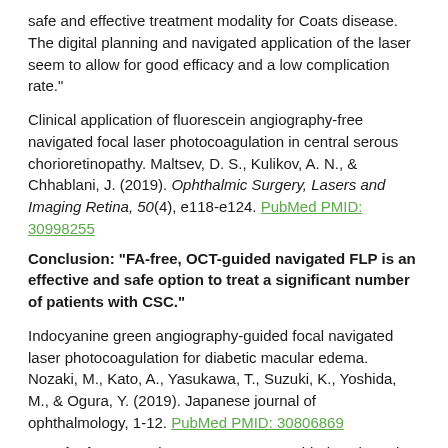safe and effective treatment modality for Coats disease. The digital planning and navigated application of the laser seem to allow for good efficacy and a low complication rate."
Clinical application of fluorescein angiography-free navigated focal laser photocoagulation in central serous chorioretinopathy. Maltsev, D. S., Kulikov, A. N., & Chhablani, J. (2019). Ophthalmic Surgery, Lasers and Imaging Retina, 50(4), e118-e124. PubMed PMID: 30998255
Conclusion: "FA-free, OCT-guided navigated FLP is an effective and safe option to treat a significant number of patients with CSC."
Indocyanine green angiography-guided focal navigated laser photocoagulation for diabetic macular edema. Nozaki, M., Kato, A., Yasukawa, T., Suzuki, K., Yoshida, M., & Ogura, Y. (2019). Japanese journal of ophthalmology, 1-12. PubMed PMID: 30806869
Conclusion: "Our data suggest ICGA-guided navigated focal laser photocoagulation may be effective for the treatment of DME."